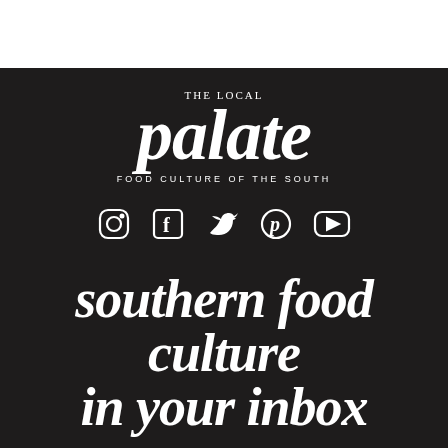[Figure (logo): The Local Palate logo — 'THE LOCAL' in small caps above large italic bold serif 'palate', with 'FOOD CULTURE OF THE SOUTH' in small caps below]
[Figure (infographic): Row of five social media icons: Instagram, Facebook, Twitter, Pinterest, YouTube — outlined in white on dark background]
southern food culture in your inbox